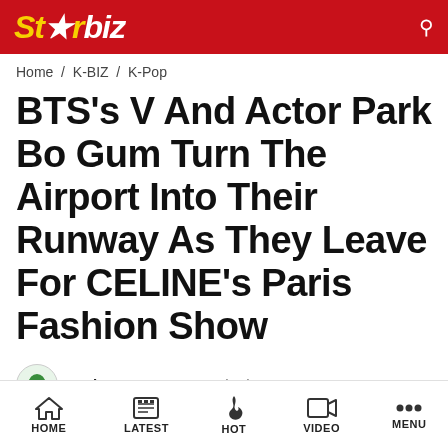Starbiz
Home / K-BIZ / K-Pop
BTS's V And Actor Park Bo Gum Turn The Airport Into Their Runway As They Leave For CELINE's Paris Fashion Show
Harley · 01:44 PM, 06/24/2022
HOME | LATEST | HOT | VIDEO | MENU